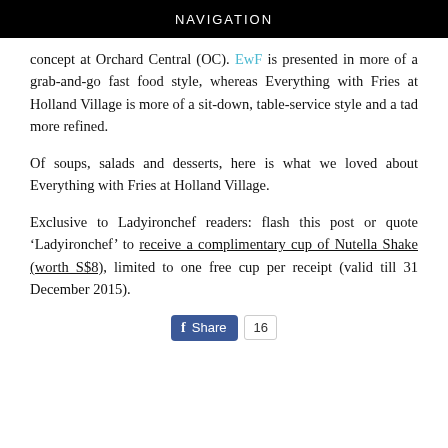NAVIGATION
concept at Orchard Central (OC). EwF is presented in more of a grab-and-go fast food style, whereas Everything with Fries at Holland Village is more of a sit-down, table-service style and a tad more refined.
Of soups, salads and desserts, here is what we loved about Everything with Fries at Holland Village.
Exclusive to Ladyironchef readers: flash this post or quote ‘Ladyironchef’ to receive a complimentary cup of Nutella Shake (worth S$8), limited to one free cup per receipt (valid till 31 December 2015).